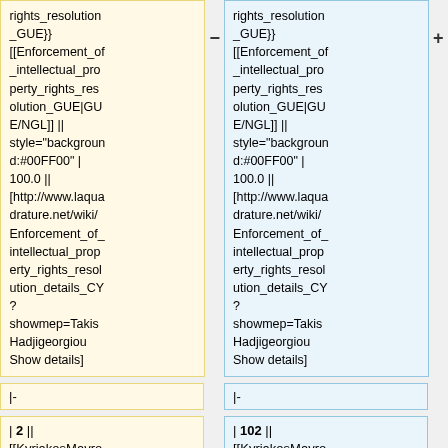rights_resolution_GUE}} [[Enforcement_of_intellectual_property_rights_resolution_GUE|GUE/NGL]] || style="background:#00FF00" | 100.0 || [http://www.laquadrature.net/wiki/Enforcement_of_intellectual_property_rights_resolution_details_CY?showmep=TakisHadjigeorgiou Show details]
rights_resolution_GUE}} [[Enforcement_of_intellectual_property_rights_resolution_GUE|GUE/NGL]] || style="background:#00FF00" | 100.0 || [http://www.laquadrature.net/wiki/Enforcement_of_intellectual_property_rights_resolution_details_CY?showmep=TakisHadjigeorgiou Show details]
|-
|-
| 2 || [[KyriakosMavronikolas|Kyriakos
| 102 || [[KyriakosMavronikolas|Kyriakos